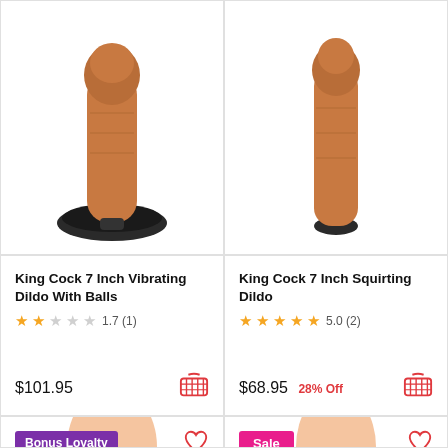[Figure (photo): Product photo of King Cock 7 Inch Vibrating Dildo With Balls on suction cup base, tan/brown color]
[Figure (photo): Product photo of King Cock 7 Inch Squirting Dildo, tan/brown color on small base]
King Cock 7 Inch Vibrating Dildo With Balls
1.7 (1)
$101.95
King Cock 7 Inch Squirting Dildo
5.0 (2)
$68.95 28% Off
[Figure (photo): Partial product photo bottom-left, skin-toned product visible, Bonus Loyalty badge]
[Figure (photo): Partial product photo bottom-right, skin-toned product visible, Sale badge]